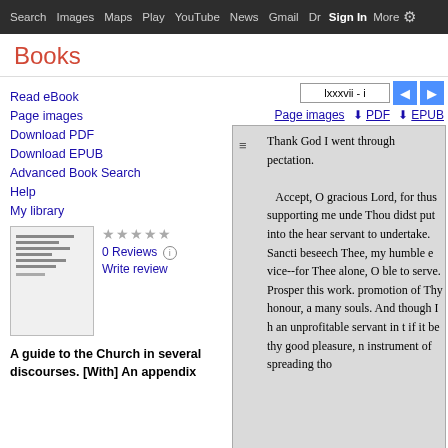Search  Images  Maps  Play  YouTube  News  Gmail  Drive  More  Sign in  (settings)
Books
Read eBook
Page images
Download PDF
Download EPUB
Advanced Book Search
Help
My library
0 Reviews
Write review
A guide to the Church in several discourses. [With] An appendix
lxxxvii - i
Page images  PDF  EPUB
Thank God I went through pectation.

   Accept, O gracious Lord, for thus supporting me unde Thou didst put into the hear servant to undertake. Sancti beseech Thee, my humble e vice--for Thee alone, O ble to serve. Prosper this work. promotion of Thy honour, a many souls. And though I h an unprofitable servant in t if it be thy good pleasure, n instrument of spreading tho